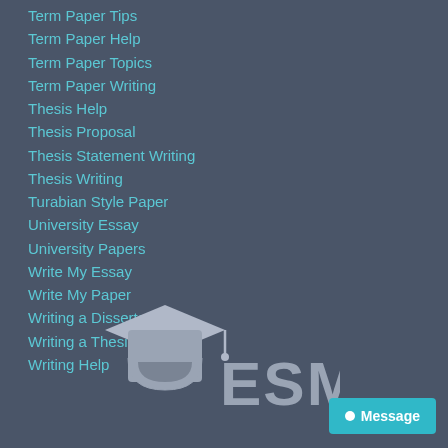Term Paper Tips
Term Paper Help
Term Paper Topics
Term Paper Writing
Thesis Help
Thesis Proposal
Thesis Statement Writing
Thesis Writing
Turabian Style Paper
University Essay
University Papers
Write My Essay
Write My Paper
Writing a Dissertation
Writing a Thesis Online
Writing Help
[Figure (logo): ESM graduation cap logo with stylized text 'ESM']
Message